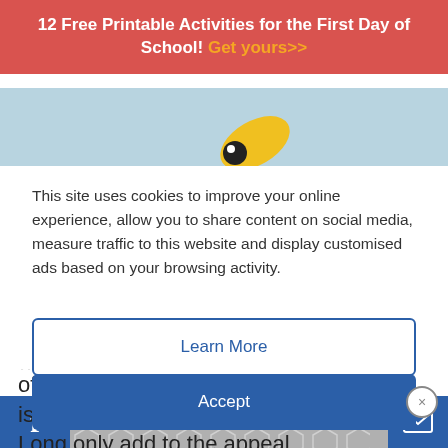12 Free Printable Activities for the First Day of School! Get yours>>
[Figure (photo): Partial image of a children's book illustration showing a yellow fish/creature on a light blue background]
This site uses cookies to improve your online experience, allow you to share content on social media, measure traffic to this website and display customised ads based on your browsing activity.
Learn More
Accept
of the most complex sentiments there is. Gorgeous illustrations by Loren Long only add to the appeal.
f [social share bar]